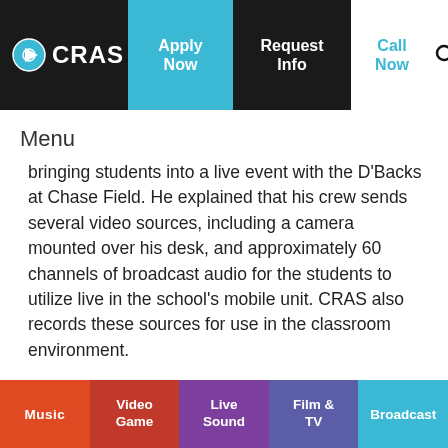CRAS | Apply Now | Request Info | Call Now
Menu
bringing students into a live event with the D'Backs at Chase Field. He explained that his crew sends several video sources, including a camera mounted over his desk, and approximately 60 channels of broadcast audio for the students to utilize live in the school's mobile unit. CRAS also records these sources for use in the classroom environment.
“Many CRAS students who are participating in their post school graduate intern program have come out to other sporting events I work on, such as for Pac-12 Network, ESPN, and others,” Domenigoni
Music | Video Game | Live Sound | Film & TV | Broadcast